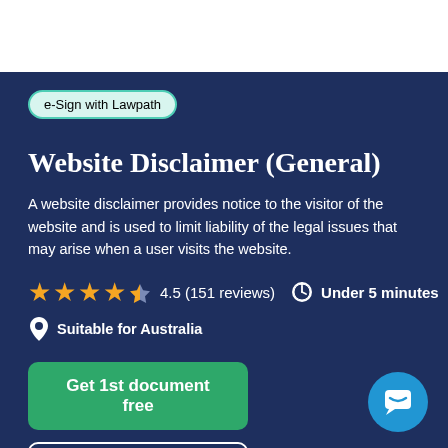e-Sign with Lawpath
Website Disclaimer (General)
A website disclaimer provides notice to the visitor of the website and is used to limit liability of the legal issues that may arise when a user visits the website.
4.5 (151 reviews)   Under 5 minutes
Suitable for Australia
Get 1st document free
View sample